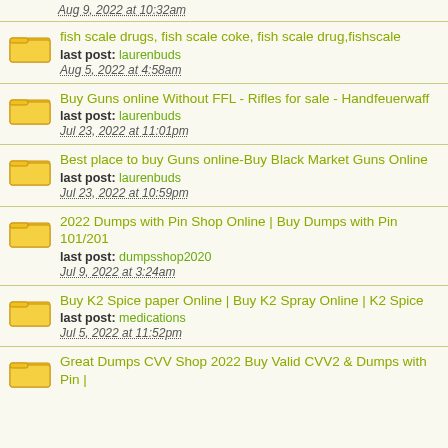Aug 9, 2022 at 10:32am
fish scale drugs, fish scale coke, fish scale drug,fishscale | last post: laurenbuds | Aug 5, 2022 at 4:58am
Buy Guns online Without FFL - Rifles for sale - Handfeuerwaff | last post: laurenbuds | Jul 23, 2022 at 11:01pm
Best place to buy Guns online-Buy Black Market Guns Online | last post: laurenbuds | Jul 23, 2022 at 10:59pm
2022 Dumps with Pin Shop Online | Buy Dumps with Pin 101/201 | last post: dumpsshop2020 | Jul 9, 2022 at 3:24am
Buy K2 Spice paper Online | Buy K2 Spray Online | K2 Spice | last post: medications | Jul 5, 2022 at 11:52pm
Great Dumps CVV Shop 2022 Buy Valid CVV2 & Dumps with Pin |